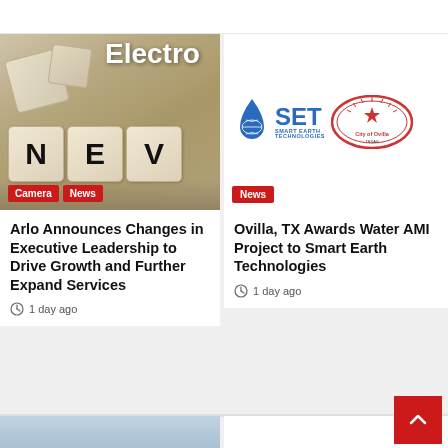Electro
[Figure (photo): Sepia-toned photo of wooden letter dice showing N, E, V (NEWS) with Camera and News category tags overlaid]
[Figure (logo): SET Smart Earth Technologies logo alongside City of Ovilla logo, with News category tag]
Arlo Announces Changes in Executive Leadership to Drive Growth and Further Expand Services
1 day ago
Ovilla, TX Awards Water AMI Project to Smart Earth Technologies
1 day ago